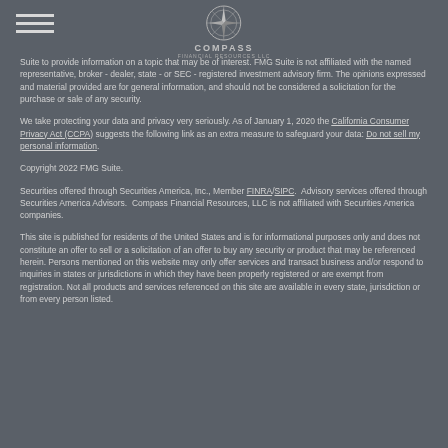[Figure (logo): Compass Financial Resources LLC logo with compass rose icon and text]
Suite to provide information on a topic that may be of interest. FMG Suite is not affiliated with the named representative, broker - dealer, state - or SEC - registered investment advisory firm. The opinions expressed and material provided are for general information, and should not be considered a solicitation for the purchase or sale of any security.
We take protecting your data and privacy very seriously. As of January 1, 2020 the California Consumer Privacy Act (CCPA) suggests the following link as an extra measure to safeguard your data: Do not sell my personal information.
Copyright 2022 FMG Suite.
Securities offered through Securities America, Inc., Member FINRA/SIPC. Advisory services offered through Securities America Advisors. Compass Financial Resources, LLC is not affiliated with Securities America companies.
This site is published for residents of the United States and is for informational purposes only and does not constitute an offer to sell or a solicitation of an offer to buy any security or product that may be referenced herein. Persons mentioned on this website may only offer services and transact business and/or respond to inquiries in states or jurisdictions in which they have been properly registered or are exempt from registration. Not all products and services referenced on this site are available in every state, jurisdiction or from every person listed.